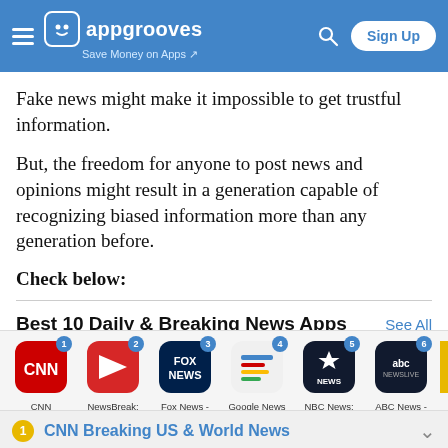appgrooves — Save Money on Apps | Sign Up
Fake news might make it impossible to get trustful information.
But, the freedom for anyone to post news and opinions might result in a generation capable of recognizing biased information more than any generation before.
Check below:
Best 10 Daily & Breaking News Apps
[Figure (screenshot): App strip showing ranked news apps: 1 CNN Breaking U..., 2 NewsBreak: Local New..., 3 Fox News - Daily..., 4 Google News - Daily..., 5 NBC News: Breaking..., 6 ABC News - US & World..., and a partially visible 7th app]
CNN Breaking US & World News